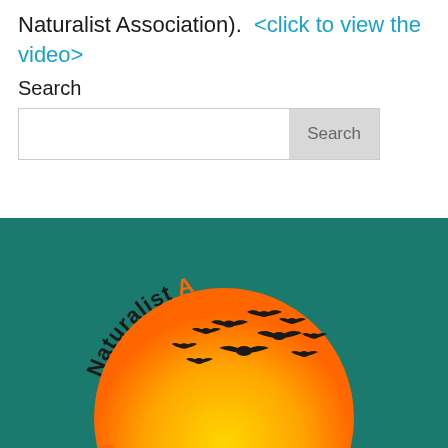Naturalist Association). <click to view the video>
Search
[Figure (logo): Religious Naturalist Association logo: circular orange/yellow sunset with flying geese silhouettes and marsh plants, text arcing around the circle reading 'Religious Naturalist Association' in orange and black, on a teal background]